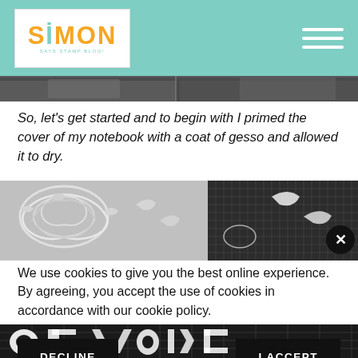Simon Says Stamp Blog
[Figure (photo): Top strip of a craft/architectural photo in dark tones]
So, let's get started and to begin with I primed the cover of my notebook with a coat of gesso and allowed it to dry.
[Figure (photo): Close-up photo of decorative die-cut metal embellishments and a cutting mat with grid lines]
We use cookies to give you the best online experience. By agreeing, you accept the use of cookies in accordance with our cookie policy.
DECLINE  I ACCEPT
Privacy Policy  Cookie Policy
[Figure (photo): Bottom strip of craft cutting mat with letter die-cuts in black and white]